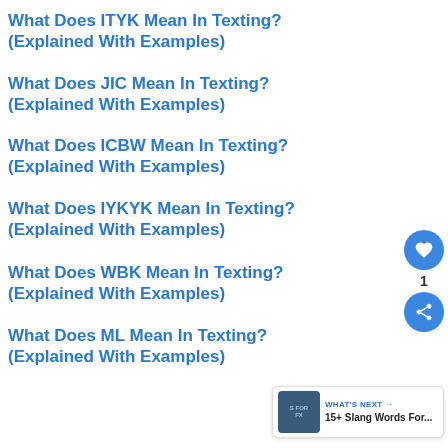What Does ITYK Mean In Texting? (Explained With Examples)
What Does JIC Mean In Texting? (Explained With Examples)
What Does ICBW Mean In Texting? (Explained With Examples)
What Does IYKYK Mean In Texting? (Explained With Examples)
What Does WBK Mean In Texting? (Explained With Examples)
What Does ML Mean In Texting? (Explained With Examples)
WHAT'S NEXT → 15+ Slang Words For...